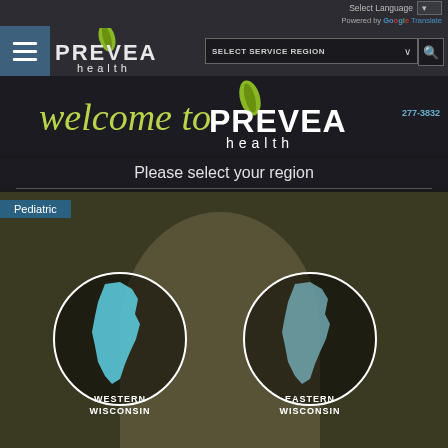Select Language | Powered by Google Translate
[Figure (logo): Prevea Health logo with green leaf icon and text 'PREVEA health']
SELECT SERVICE REGION
[Figure (logo): Welcome to Prevea Health overlay logo with green leaf and italic 'welcome to' text]
Please select your region
Pediatric
[Figure (map): Two circular map icons showing Western Wisconsin and Eastern Wisconsin regions with Wisconsin state outline in light blue]
WESTERN
WISCONSIN
EASTERN
WISCONSIN